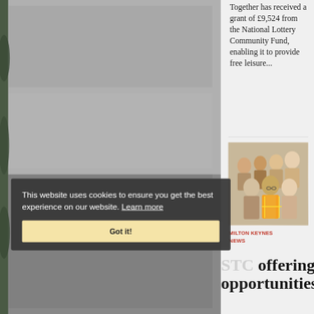[Figure (photo): Left side photo collage of outdoor/architectural scenes]
Together has received a grant of £9,524 from the National Lottery Community Fund, enabling it to provide free leisure...
[Figure (photo): Group photo of diverse people including a person in hi-vis vest]
MILTON KEYNES NEWS
STC offering opportunities